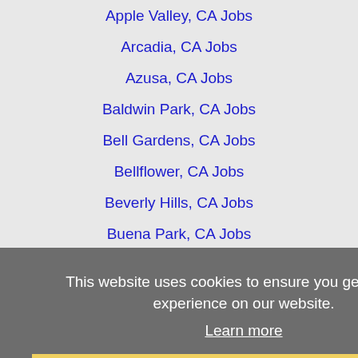Apple Valley, CA Jobs
Arcadia, CA Jobs
Azusa, CA Jobs
Baldwin Park, CA Jobs
Bell Gardens, CA Jobs
Bellflower, CA Jobs
Beverly Hills, CA Jobs
Buena Park, CA Jobs
Burbank, CA Jobs
Camarillo, CA Jobs
Carlsbad, CA Jobs
Carson, CA Jobs
Catalina Island, CA Jobs
Cathedral City, CA Jobs
Cerritos, CA Jobs
Chino Hills, CA Jobs
Chula Vista, CA Jobs
Colton, CA Jobs
This website uses cookies to ensure you get the best experience on our website.
Learn more
Got it!